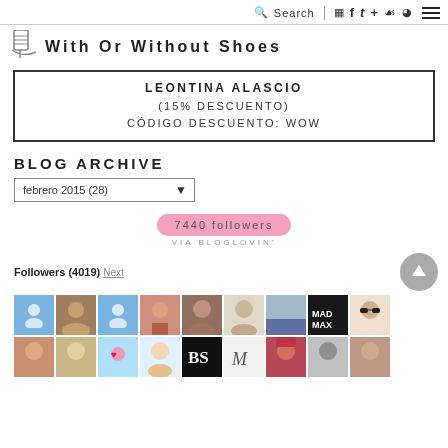Search | social icons | hamburger menu
With Or Without Shoes
LEONTINA ALASCIO
(15% DESCUENTO)
CÓDIGO DESCUENTO: WOW
BLOG ARCHIVE
febrero 2015 (28)
7440 followers
VIA  BLOGLOVIN'
Followers (4019) Next
[Figure (photo): Grid of follower profile thumbnails, two rows of approximately 10 avatars each]